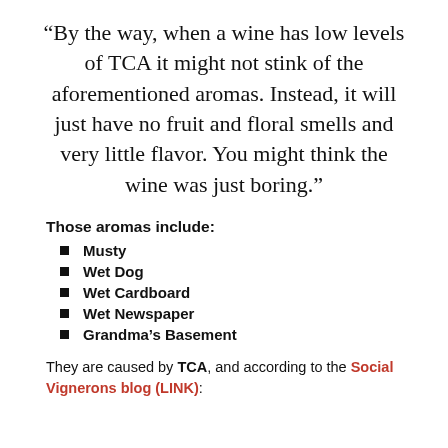“By the way, when a wine has low levels of TCA it might not stink of the aforementioned aromas. Instead, it will just have no fruit and floral smells and very little flavor. You might think the wine was just boring.”
Those aromas include:
Musty
Wet Dog
Wet Cardboard
Wet Newspaper
Grandma’s Basement
They are caused by TCA, and according to the Social Vignerons blog (LINK):